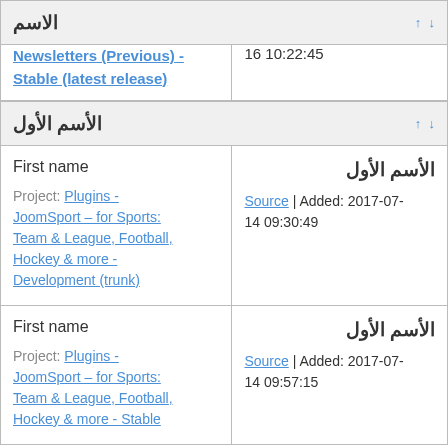| الاسم |  |
| --- | --- |
| Newsletters (Previous) - Stable (latest release) | 16 10:22:45 |
| الأسم الأول |  |
| --- | --- |
| First name
Project: Plugins - JoomSport – for Sports: Team & League, Football, Hockey & more - Development (trunk) | الأسم الأول
Source | Added: 2017-07-14 09:30:49 |
| First name
Project: Plugins - JoomSport – for Sports: Team & League, Football, Hockey & more - Stable | الأسم الأول
Source | Added: 2017-07-14 09:57:15 |